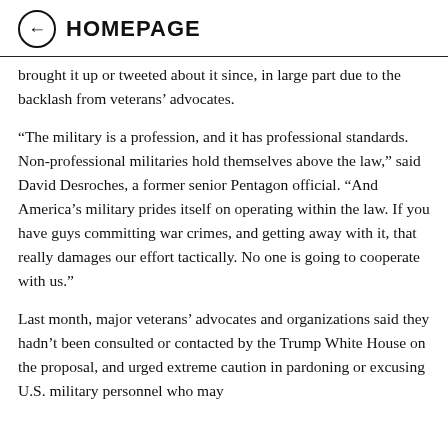← HOMEPAGE
brought it up or tweeted about it since, in large part due to the backlash from veterans' advocates.
“The military is a profession, and it has professional standards. Non-professional militaries hold themselves above the law,” said David Desroches, a former senior Pentagon official. “And America’s military prides itself on operating within the law. If you have guys committing war crimes, and getting away with it, that really damages our effort tactically. No one is going to cooperate with us.”
Last month, major veterans’ advocates and organizations said they hadn’t been consulted or contacted by the Trump White House on the proposal, and urged extreme caution in pardoning or excusing U.S. military personnel who may